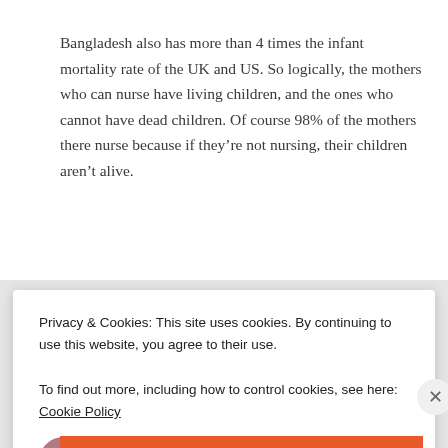Bangladesh also has more than 4 times the infant mortality rate of the UK and US. So logically, the mothers who can nurse have living children, and the ones who cannot have dead children. Of course 98% of the mothers there nurse because if they're not nursing, their children aren't alive.
★ Like
Sara Schneider
Privacy & Cookies: This site uses cookies. By continuing to use this website, you agree to their use.
To find out more, including how to control cookies, see here: Cookie Policy
Close and accept